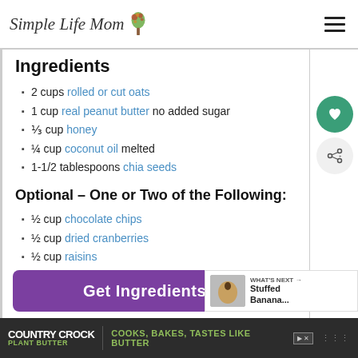Simple Life Mom
Ingredients
2 cups rolled or cut oats
1 cup real peanut butter no added sugar
⅓ cup honey
¼ cup coconut oil melted
1-1/2 tablespoons chia seeds
Optional – One or Two of the Following:
½ cup chocolate chips
½ cup dried cranberries
½ cup raisins
½ cup sunflower seeds
Get Ingredients
WHAT'S NEXT → Stuffed Banana...
COUNTRY CROCK PLANT BUTTER | COOKS, BAKES, TASTES LIKE BUTTER